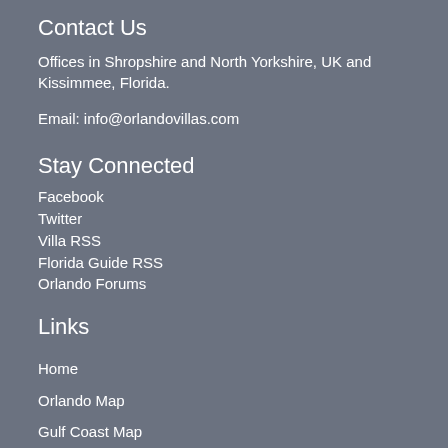Contact Us
Offices in Shropshire and North Yorkshire, UK and Kissimmee, Florida.
Email: info@orlandovillas.com
Stay Connected
Facebook
Twitter
Villa RSS
Florida Guide RSS
Orlando Forums
Links
Home
Orlando Map
Gulf Coast Map
Orlando Villas Communties
Gulf Coast Villas Communties